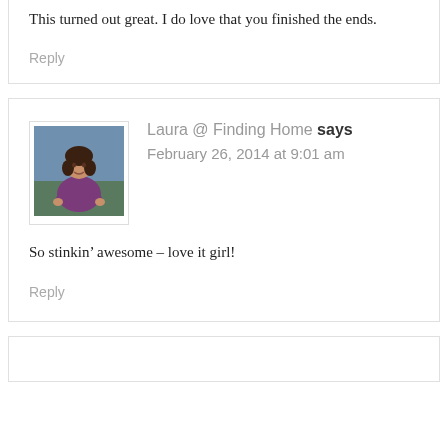This turned out great. I do love that you finished the ends.
Reply
Laura @ Finding Home says
February 26, 2014 at 9:01 am
So stinkin’ awesome – love it girl!
Reply